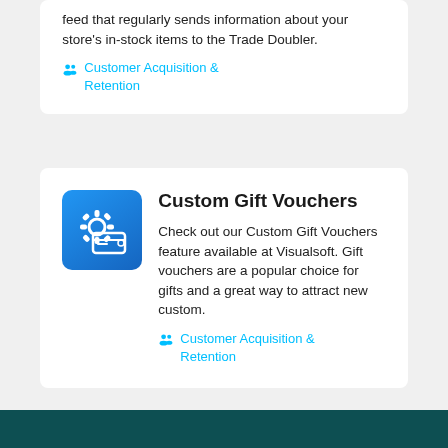feed that regularly sends information about your store's in-stock items to the Trade Doubler.
Customer Acquisition & Retention
Custom Gift Vouchers
Check out our Custom Gift Vouchers feature available at Visualsoft. Gift vouchers are a popular choice for gifts and a great way to attract new custom.
Customer Acquisition & Retention